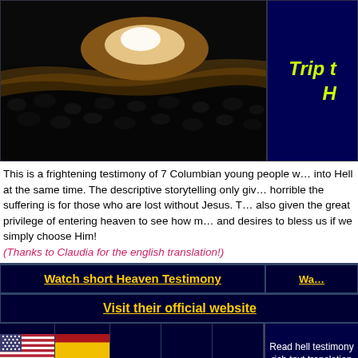[Figure (photo): Dark image showing what appears to be a crowd or mass gathering, dark tones]
Trip t… H…
This is a frightening testimony of 7 Columbian young people w… into Hell at the same time. The descriptive storytelling only giv… horrible the suffering is for those who are lost without Jesus. T… also given the great privilege of entering heaven to see how m… and desires to bless us if we simply choose Him! (Thanks to Claudia for the english translation!)
Watch short Heaven Testimony
Wa…
Visit their official website
[Figure (screenshot): Flag grid with US, Spanish, Dutch, Swedish, South African flags and Read hell testimony options]
Read hell testimony rich text translation
Read hell testimony MS Word translation
Read hell testimony PDF translation
Listen to hell